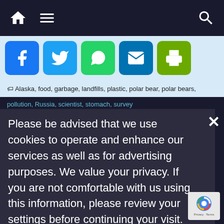Navigation bar with home, menu, and search icons
[Figure (other): Social sharing icons: Facebook, Twitter, WhatsApp, Email, Print]
Alaska, food, garbage, landfills, plastic, polar bear, polar bears,
pollution, Russia, scientist, stomach, survey
Please be advised that we use cookies to operate and enhance our services as well as for advertising purposes. We value your privacy. If you are not comfortable with us using this information, please review your settings before continuing your visit.
Manage your navigation settings
Russia is winning support for its claims on
Find out more
Arctic shelf, says chief negotiator →